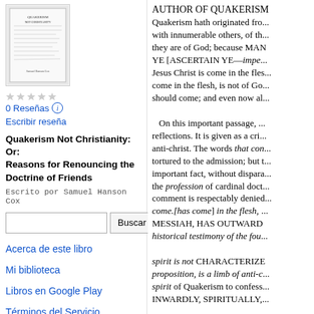[Figure (illustration): Book cover thumbnail for 'Quakerism Not Christianity' by Samuel Hanson Cox]
0 Reseñas   Escribir reseña
Quakerism Not Christianity: Or: Reasons for Renouncing the Doctrine of Friends
Escrito por Samuel Hanson Cox
[Search box] Buscar
Acerca de este libro
Mi biblioteca
Libros en Google Play
Términos del Servicio
AUTHOR OF QUAKERISM... Quakerism hath originated fro... with innumerable others, of th... they are of God; because MAN YE [ASCERTAIN YE—impe... Jesus Christ is come in the fles... come in the flesh, is not of Go... should come; and even now al... On this important passage, ... reflections. It is given as a cri... anti-christ. The words that cor... tortured to the admission; but t... important fact, without dispara... the profession of cardinal doct... comment is respectably denied... come.[has come] in the flesh, MESSIAH, HAS OUTWARD... historical testimony of the fou... spirit is not CHARACTERIZE... proposition, is a limb of anti-c... spirit of Quakerism to confess... INWARDLY, SPIRITUALLY,...